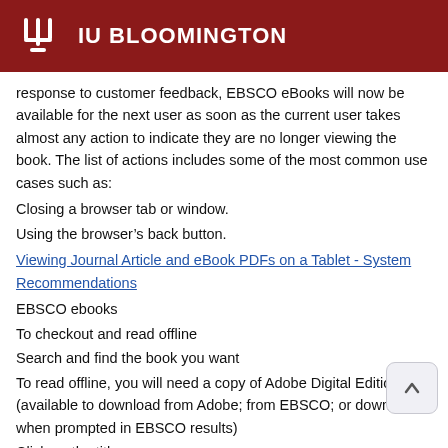IU BLOOMINGTON
response to customer feedback, EBSCO eBooks will now be available for the next user as soon as the current user takes almost any action to indicate they are no longer viewing the book. The list of actions includes some of the most common use cases such as:
Closing a browser tab or window.
Using the browser's back button.
Viewing Journal Article and eBook PDFs on a Tablet - System Recommendations
EBSCO ebooks
To checkout and read offline
Search and find the book you want
To read offline, you will need a copy of Adobe Digital Editions (available to download from Adobe; from EBSCO; or download when prompted in EBSCO results)
Click on the title
Select Download This eBook (Offline)
Please sign in to your My EBSCOhost account to check availability and download.
You may see: Sorry, this title is not available for download. Please view the title